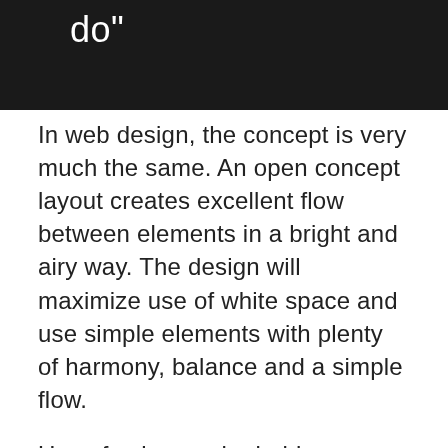[Figure (other): Dark banner with partial text ending in 'do"']
In web design, the concept is very much the same. An open concept layout creates excellent flow between elements in a bright and airy way. The design will maximize use of white space and use simple elements with plenty of harmony, balance and a simple flow.
Use of color can be bold or streamlined and pages can include a short or long-scroll.
These layouts often work best with a detailed plan and flow for the design that ends in a single call to action. Trying to mix and match too many elements and pieces can result in a jumbled design. The key thing to keep in mind